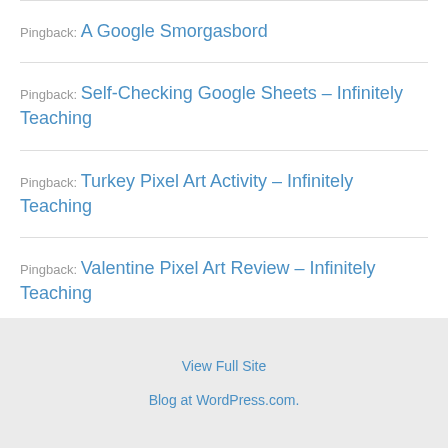Pingback: A Google Smorgasbord
Pingback: Self-Checking Google Sheets – Infinitely Teaching
Pingback: Turkey Pixel Art Activity – Infinitely Teaching
Pingback: Valentine Pixel Art Review – Infinitely Teaching
View Full Site
Blog at WordPress.com.